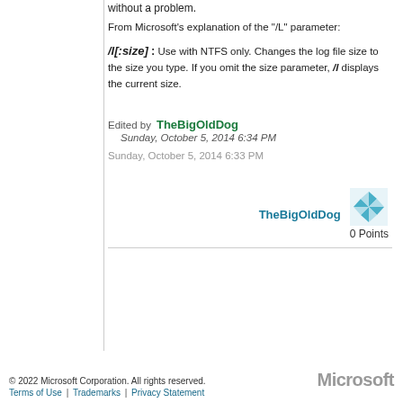without a problem.
From Microsoft's explanation of the "/L" parameter:
/l[:size] : Use with NTFS only. Changes the log file size to the size you type. If you omit the size parameter, /l displays the current size.
Edited by  TheBigOldDog
  Sunday, October 5, 2014 6:34 PM
Sunday, October 5, 2014 6:33 PM
TheBigOldDog   0 Points
© 2022 Microsoft Corporation. All rights reserved.
Terms of Use | Trademarks | Privacy Statement